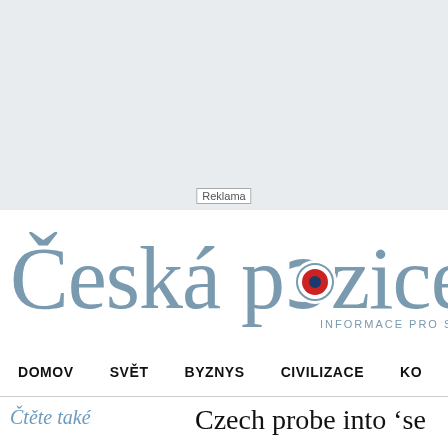[Figure (other): Gray advertisement banner area with 'Reklama' label]
[Figure (logo): Česká pozice logo — stylized gray text with red and blue target dot on the letter 'o', subtitle reads INFORMACE PRO SVOBODNÉ LIDI]
DOMOV   SVĚT   BYZNYS   CIVILIZACE   KO
Čtěte také
Czech probe into 'sec